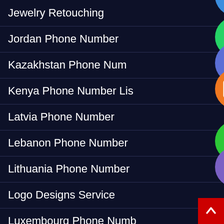Jewelry Retouching
Jordan Phone Number
Kazakhstan Phone Num…
Kenya Phone Number Lis…
Latvia Phone Number
Lebanon Phone Number…
Lithuania Phone Number…
Logo Designs Service
Luxembourg Phone Numb…